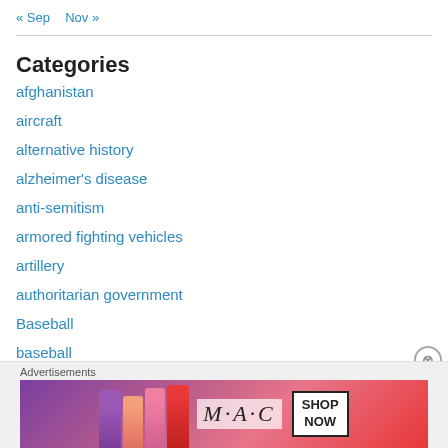« Sep   Nov »
Categories
afghanistan
aircraft
alternative history
alzheimer's disease
anti-semitism
armored fighting vehicles
artillery
authoritarian government
Baseball
baseball
basketball
[Figure (other): MAC Cosmetics advertisement banner showing lipsticks with SHOP NOW button]